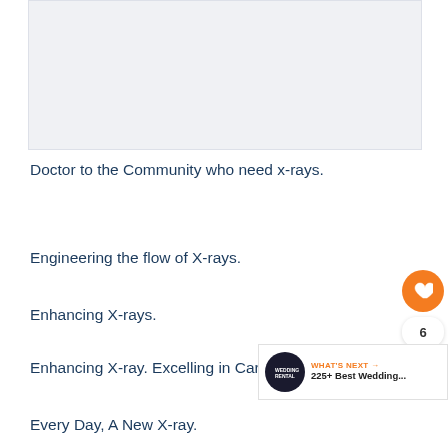[Figure (photo): Image placeholder area at top of page]
Doctor to the Community who need x-rays.
Engineering the flow of X-rays.
Enhancing X-rays.
Enhancing X-ray. Excelling in Care.
Every Day, A New X-ray.